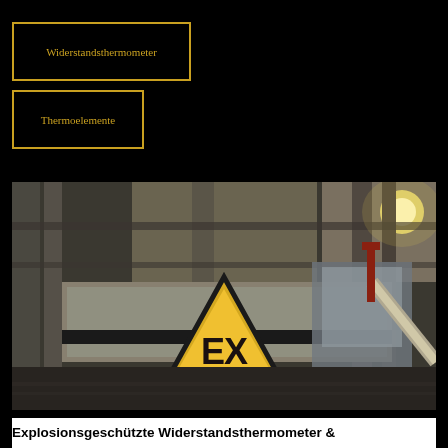Widerstandsthermometer
Thermoelemente
[Figure (photo): Industrial facility interior showing metal structures with a yellow warning triangle sign reading 'EX' (explosion protection symbol), set against a blurred industrial background with lighting.]
Explosionsgeschützte Widerstandsthermometer &